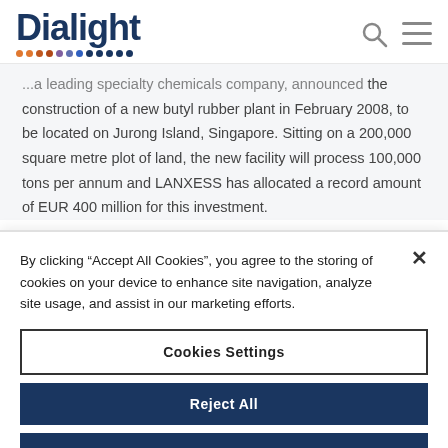Dialight
...a leading specialty chemicals company, announced the construction of a new butyl rubber plant in February 2008, to be located on Jurong Island, Singapore. Sitting on a 200,000 square metre plot of land, the new facility will process 100,000 tons per annum and LANXESS has allocated a record amount of EUR 400 million for this investment.
By clicking “Accept All Cookies”, you agree to the storing of cookies on your device to enhance site navigation, analyze site usage, and assist in our marketing efforts.
Cookies Settings
Reject All